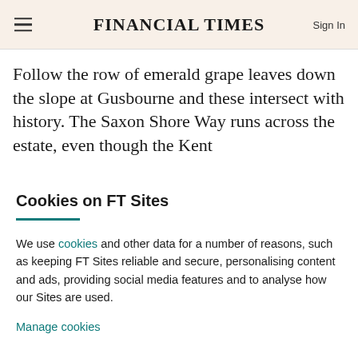FINANCIAL TIMES
Follow the row of emerald grape leaves down the slope at Gusbourne and these intersect with history. The Saxon Shore Way runs across the estate, even though the Kent
Cookies on FT Sites
We use cookies and other data for a number of reasons, such as keeping FT Sites reliable and secure, personalising content and ads, providing social media features and to analyse how our Sites are used.
Manage cookies
Accept & continue